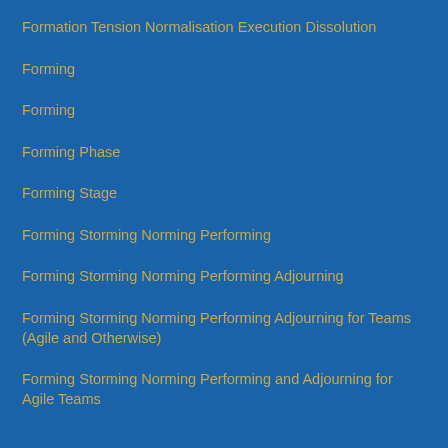Formation Tension Normalisation Execution Dissolution
Forming
Forming
Forming Phase
Forming Stage
Forming Storming Norming Performing
Forming Storming Norming Performing Adjourning
Forming Storming Norming Performing Adjourning for Teams (Agile and Otherwise)
Forming Storming Norming Performing and Adjourning for Agile Teams